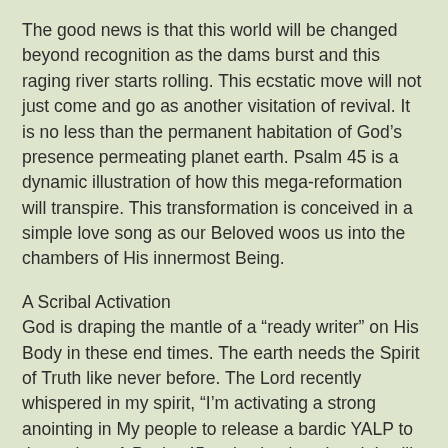The good news is that this world will be changed beyond recognition as the dams burst and this raging river starts rolling. This ecstatic move will not just come and go as another visitation of revival. It is no less than the permanent habitation of God's presence permeating planet earth. Psalm 45 is a dynamic illustration of how this mega-reformation will transpire. This transformation is conceived in a simple love song as our Beloved woos us into the chambers of His innermost Being.
A Scribal Activation
God is draping the mantle of a “ready writer” on His Body in these end times. The earth needs the Spirit of Truth like never before. The Lord recently whispered in my spirit, “I’m activating a strong anointing in My people to release a bardic YALP to the nations. A Psalm 45 activation is at hand. It will enable them to ride the high places